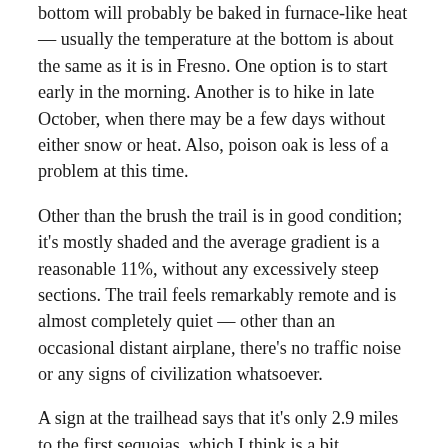bottom will probably be baked in furnace-like heat — usually the temperature at the bottom is about the same as it is in Fresno. One option is to start early in the morning. Another is to hike in late October, when there may be a few days without either snow or heat. Also, poison oak is less of a problem at this time.
Other than the brush the trail is in good condition; it's mostly shaded and the average gradient is a reasonable 11%, without any excessively steep sections. The trail feels remarkably remote and is almost completely quiet — other than an occasional distant airplane, there's no traffic noise or any signs of civilization whatsoever.
A sign at the trailhead says that it's only 2.9 miles to the first sequoias, which I think is a bit misleading, since the first sequoias worth hiking all that way to see don't occur until about 5 miles. Really the hike is only worthwhile if you're prepared to go all the way to the top of the grove.